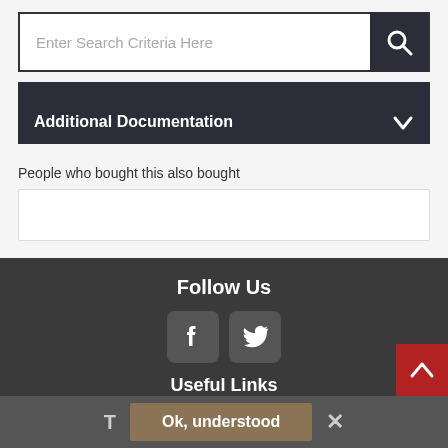[Figure (screenshot): Search bar input field with placeholder text 'Enter Search Criteria Here' and dark search button with magnifying glass icon]
Additional Documentation
People who bought this also bought
Follow Us
[Figure (logo): Facebook and Twitter social media icons in rounded square boxes]
Useful Links
T  Ok, understood  ×